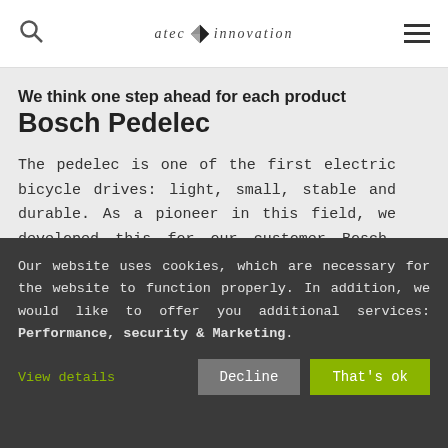atec innovation [logo with search and menu icons]
We think one step ahead for each product
Bosch Pedelec
The pedelec is one of the first electric bicycle drives: light, small, stable and durable. As a pioneer in this field, we developed this for our customer Bosch. Our pedelec is environmentally friendly and ground-breaking: This is the mobility
Our website uses cookies, which are necessary for the website to function properly. In addition, we would like to offer you additional services: Performance, security & Marketing.
View details
Decline
That's ok